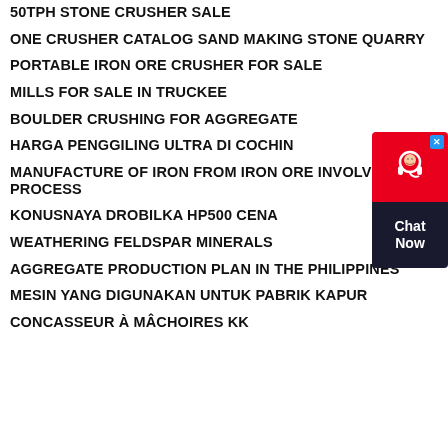50TPH STONE CRUSHER SALE
ONE CRUSHER CATALOG SAND MAKING STONE QUARRY
PORTABLE IRON ORE CRUSHER FOR SALE
MILLS FOR SALE IN TRUCKEE
BOULDER CRUSHING FOR AGGREGATE
HARGA PENGGILING ULTRA DI COCHIN
MANUFACTURE OF IRON FROM IRON ORE INVOLVES PROCESS
KONUSNAYA DROBILKA HP500 CENA
WEATHERING FELDSPAR MINERALS
AGGREGATE PRODUCTION PLAN IN THE PHILIPPINES
MESIN YANG DIGUNAKAN UNTUK PABRIK KAPUR
CONCASSEUR À MÂCHOIRES KK
[Figure (other): Chat Now customer support widget with red top section showing headset icon and dark bottom section with Chat Now text]